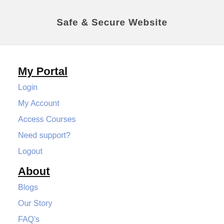Safe & Secure Website
My Portal
Login
My Account
Access Courses
Need support?
Logout
About
Blogs
Our Story
FAQ's
Testimonials